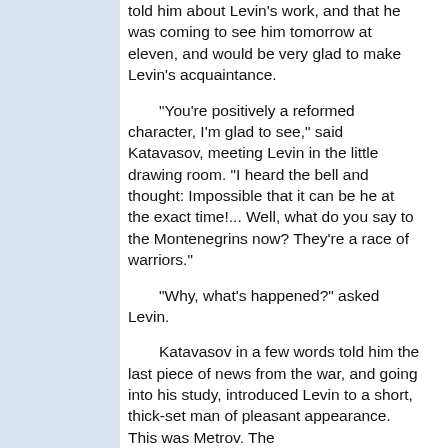told him about Levin's work, and that he was coming to see him tomorrow at eleven, and would be very glad to make Levin's acquaintance.
"You're positively a reformed character, I'm glad to see," said Katavasov, meeting Levin in the little drawing room. "I heard the bell and thought: Impossible that it can be he at the exact time!... Well, what do you say to the Montenegrins now? They're a race of warriors."
"Why, what's happened?" asked Levin.
Katavasov in a few words told him the last piece of news from the war, and going into his study, introduced Levin to a short, thick-set man of pleasant appearance. This was Metrov. The